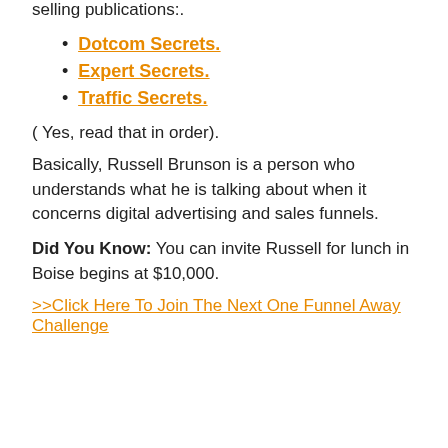selling publications:.
Dotcom Secrets.
Expert Secrets.
Traffic Secrets.
( Yes, read that in order).
Basically, Russell Brunson is a person who understands what he is talking about when it concerns digital advertising and sales funnels.
Did You Know: You can invite Russell for lunch in Boise begins at $10,000.
>>Click Here To Join The Next One Funnel Away Challenge